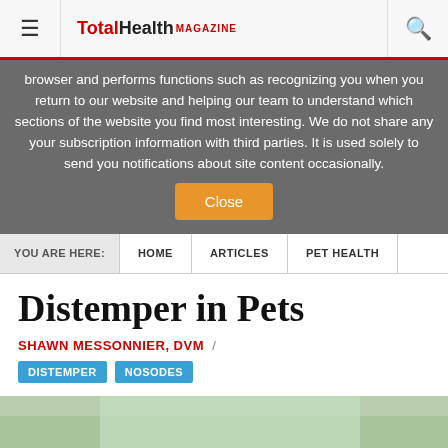TotalHealth MAGAZINE
browser and performs functions such as recognizing you when you return to our website and helping our team to understand which sections of the website you find most interesting. We do not share any your subscription information with third parties. It is used solely to send you notifications about site content occasionally.
Close
YOU ARE HERE: HOME ARTICLES PET HEALTH
Distemper in Pets
SHAWN MESSONNIER, DVM /
DISTEMPER NOSODES
[Figure (photo): Partial bottom strip showing a pet photo, green/natural background]